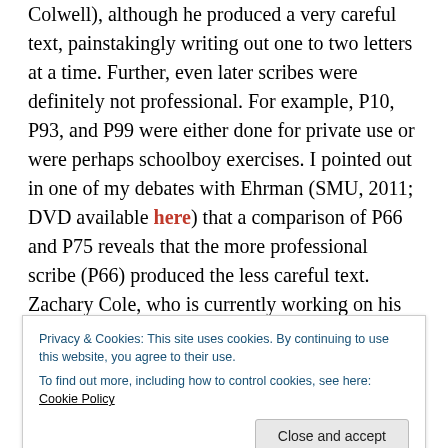Colwell), although he produced a very careful text, painstakingly writing out one to two letters at a time. Further, even later scribes were definitely not professional. For example, P10, P93, and P99 were either done for private use or were perhaps schoolboy exercises. I pointed out in one of my debates with Ehrman (SMU, 2011; DVD available here) that a comparison of P66 and P75 reveals that the more professional scribe (P66) produced the less careful text. Zachary Cole, who is currently working on his doctorate in NT textual criticism at Edinburgh University, wrote his
Privacy & Cookies: This site uses cookies. By continuing to use this website, you agree to their use. To find out more, including how to control cookies, see here: Cookie Policy
Close and accept
professional and therefore their text was not